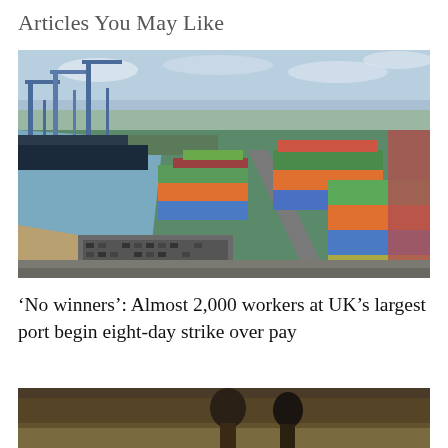Articles You May Like
[Figure (photo): Aerial photograph of a large container port (UK's largest port) showing colorful stacked shipping containers in red, green, blue, orange, and yellow, with cranes along the waterfront, cars parked in a lot, and calm water visible on the left side.]
‘No winners’: Almost 2,000 workers at UK’s largest port begin eight-day strike over pay
[Figure (photo): Partially visible photograph at the bottom of the page showing figures in an outdoor setting, dark tones.]